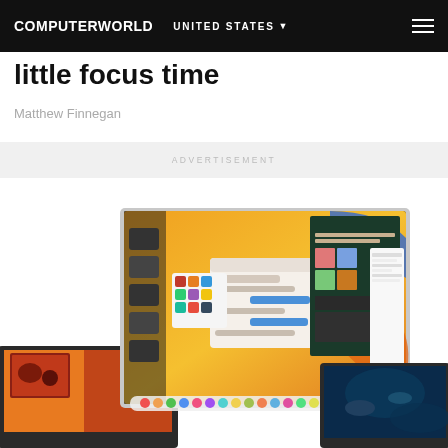COMPUTERWORLD  UNITED STATES
little focus time
Matthew Finnegan
ADVERTISEMENT
[Figure (screenshot): macOS Ventura promotional screenshot showing multiple Mac devices (MacBook, iMac) with the macOS Ventura desktop featuring colorful wallpapers, Messages, Stage Manager, and various apps open on screen.]